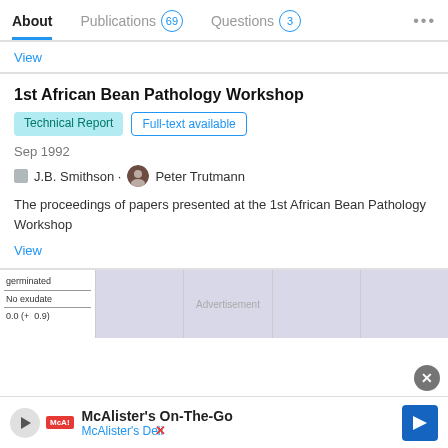About  Publications 69  Questions 3  ...
View
1st African Bean Pathology Workshop
Technical Report  Full-text available
Sep 1992
J.B. Smithson · Peter Trutmann
The proceedings of papers presented at the 1st African Bean Pathology Workshop
View
[Figure (table-as-image): Thumbnail of a table showing 'germinated', 'No exudate', '0.0 (+ 0.9)' rows]
Advertisement
McAlister's On-The-Go  McAlister's Deli